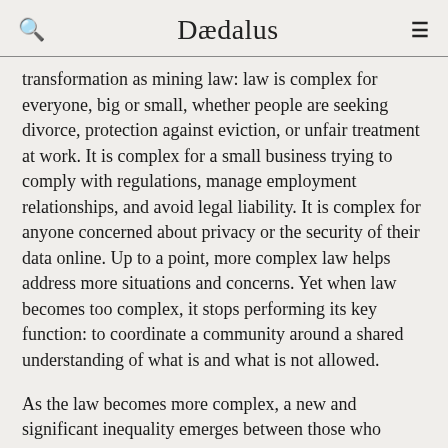Dædalus
transformation as mining law: law is complex for everyone, big or small, whether people are seeking divorce, protection against eviction, or unfair treatment at work. It is complex for a small business trying to comply with regulations, manage employment relationships, and avoid legal liability. It is complex for anyone concerned about privacy or the security of their data online. Up to a point, more complex law helps address more situations and concerns. Yet when law becomes too complex, it stops performing its key function: to coordinate a community around a shared understanding of what is and what is not allowed.
As the law becomes more complex, a new and significant inequality emerges between those who